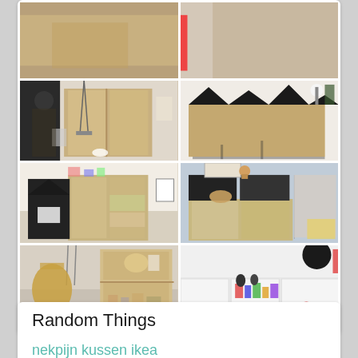[Figure (photo): A collage of 6 interior photos showing children's rooms with IKEA furniture hacks — wardrobes, cabinets, and storage units decorated with geometric shapes, mountain silhouettes, and house cutouts in black, wood, and pastel colors.]
Random Things
nekpijn kussen ikea